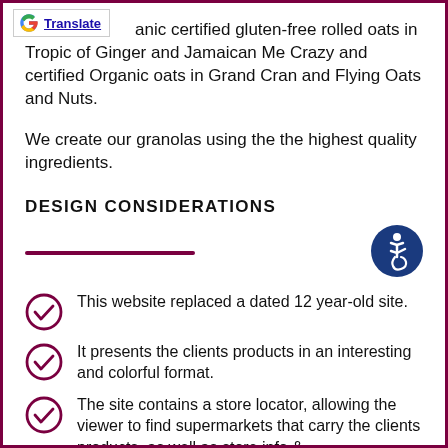anic certified gluten-free rolled oats in Tropic of Ginger and Jamaican Me Crazy and certified Organic oats in Grand Cran and Flying Oats and Nuts.
We create our granolas using the the highest quality ingredients.
DESIGN CONSIDERATIONS
[Figure (illustration): Accessibility icon: white wheelchair user on dark blue circle]
This website replaced a dated 12 year-old site.
It presents the clients products in an interesting and colorful format.
The site contains a store locator, allowing the viewer to find supermarkets that carry the clients products, as well as store info & directions.